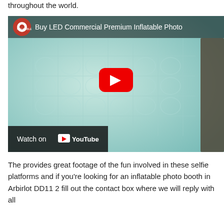throughout the world.
[Figure (screenshot): YouTube video thumbnail for 'Buy LED Commercial Premium Inflatable Photo...' showing an inflatable photo booth with teal/green pillowy walls, a red YouTube play button in the center, a channel avatar (red circle with white circle inside), video title text at top, and a 'Watch on YouTube' bar at the bottom left.]
The provides great footage of the fun involved in these selfie platforms and if you're looking for an inflatable photo booth in Arbirlot DD11 2 fill out the contact box where we will reply with all